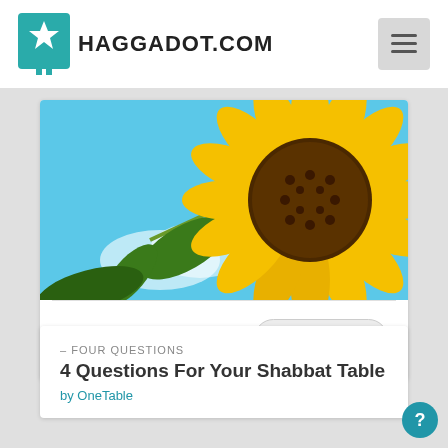HAGGADOT.COM
[Figure (photo): A close-up photograph of a sunflower with bright yellow petals and a dark brown center, against a blue sky with light clouds.]
+ Add To Haggadah
★ Save Clip
– FOUR QUESTIONS
4 Questions For Your Shabbat Table
by OneTable